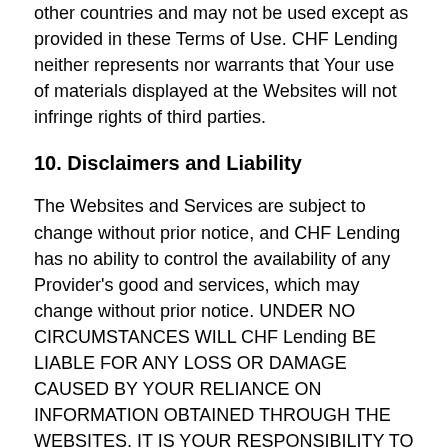other countries and may not be used except as provided in these Terms of Use. CHF Lending neither represents nor warrants that Your use of materials displayed at the Websites will not infringe rights of third parties.
10. Disclaimers and Liability
The Websites and Services are subject to change without prior notice, and CHF Lending has no ability to control the availability of any Provider's good and services, which may change without prior notice. UNDER NO CIRCUMSTANCES WILL CHF Lending BE LIABLE FOR ANY LOSS OR DAMAGE CAUSED BY YOUR RELIANCE ON INFORMATION OBTAINED THROUGH THE WEBSITES. IT IS YOUR RESPONSIBILITY TO EVALUATE THE ACCURACY, COMPLETENESS OR USEFULNESS OF ANY